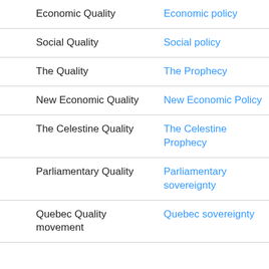| Left | Right |
| --- | --- |
| Economic Quality | Economic policy |
| Social Quality | Social policy |
| The Quality | The Prophecy |
| New Economic Quality | New Economic Policy |
| The Celestine Quality | The Celestine Prophecy |
| Parliamentary Quality | Parliamentary sovereignty |
| Quebec Quality movement | Quebec sovereignty |